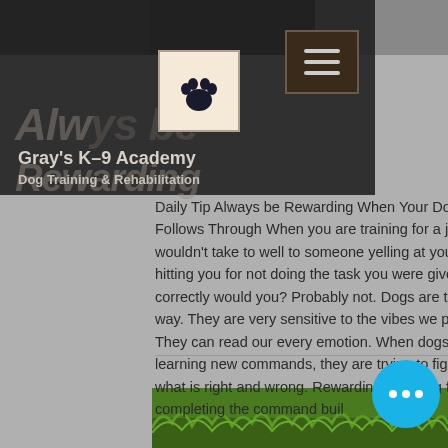[Figure (screenshot): Website screenshot of Gray's K-9 Academy dog training website showing header with logo, navigation, title text overlay, and article text]
Gray's K-9 Academy
Dog Training & Rehabilitation
Daily Tip Always be Rewarding When Your Dog Follows Through When you are training for a job, you wouldn't take to well to someone yelling at you or hitting you for not doing the task you were given correctly would you? Probably not. Dogs are the same way. They are very sensitive to the vibes we put off. They can read our every emotion. When dogs are learning new commands, they are trying to figure out what is right and wrong. Rewarding your dog for completing the command buil